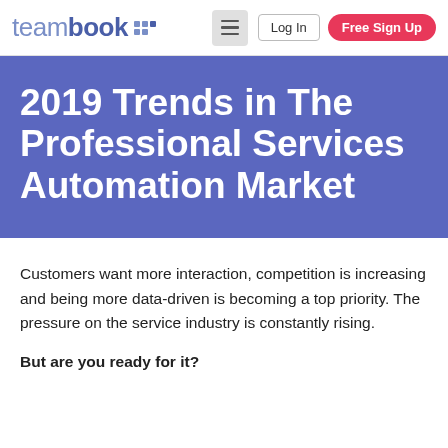teambook — Log In — Free Sign Up
2019 Trends in The Professional Services Automation Market
Customers want more interaction, competition is increasing and being more data-driven is becoming a top priority. The pressure on the service industry is constantly rising.
But are you ready for it?